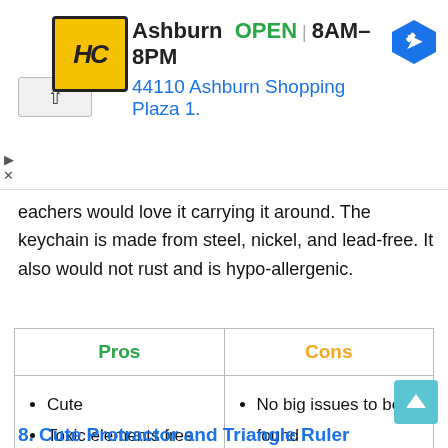[Figure (screenshot): Advertisement banner for Hairclub (HC) Ashburn location showing logo, OPEN status, hours 8AM-8PM, address 44110 Ashburn Shopping Plaza 1., navigation arrow icon, and play/close controls.]
eachers would love it carrying it around. The keychain is made from steel, nickel, and lead-free. It also would not rust and is hypo-allergenic.
| Pros | Cons |
| --- | --- |
| • Cute
• Toxic elements free
• Hypo-allergenic | • No big issues to be found |
8. Cute Protractor and Triangle Ruler